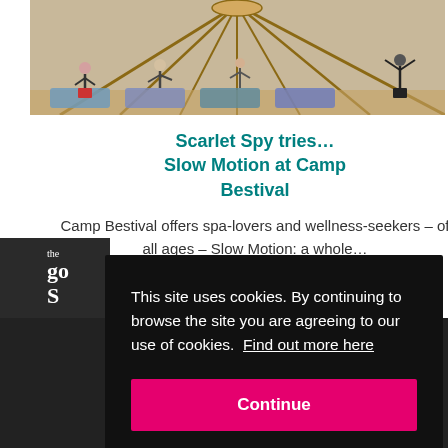[Figure (photo): Yoga class inside a yurt/tent with wooden frame ceiling, people doing yoga on mats]
Scarlet Spy tries… Slow Motion at Camp Bestival
Camp Bestival offers spa-lovers and wellness-seekers – of all ages – Slow Motion: a whole…
This site uses cookies. By continuing to browse the site you are agreeing to our use of cookies.  Find out more here
Continue